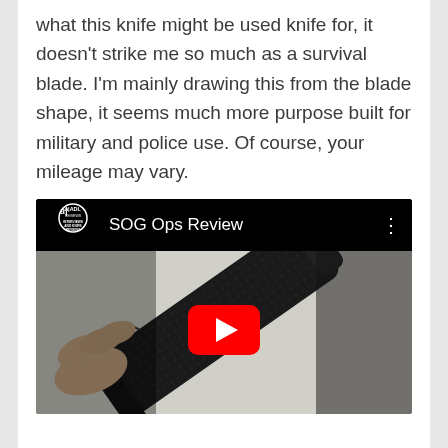what this knife might be used knife for, it doesn't strike me so much as a survival blade. I'm mainly drawing this from the blade shape, it seems much more purpose built for military and police use. Of course, your mileage may vary.
[Figure (screenshot): YouTube video embed showing 'SOG Ops Review' with a blade/knife handle thumbnail image and YouTube play button overlay. Channel logo reads 'BLADE REVIEWS INTERVIEWS AND KNIFE REVIEWS'.]